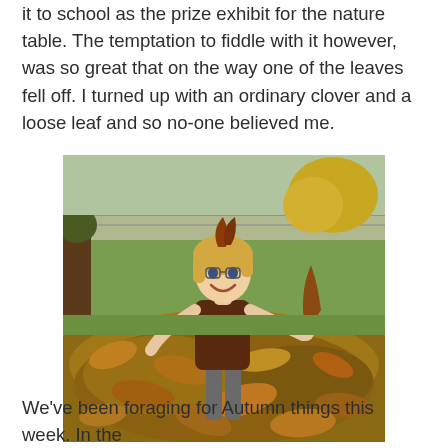it to school as the prize exhibit for the nature table. The temptation to fiddle with it however, was so great that on the way one of the leaves fell off. I turned up with an ordinary clover and a loose leaf and so no-one believed me.
[Figure (photo): A young girl with blonde hair laughing and playing in a large pile of autumn leaves outdoors. She is wearing a brown top and grey pants, holding a leaf up near her head. Green grass and a chain-link fence are visible in the background.]
We've been foraging for Autumn things this week. In the